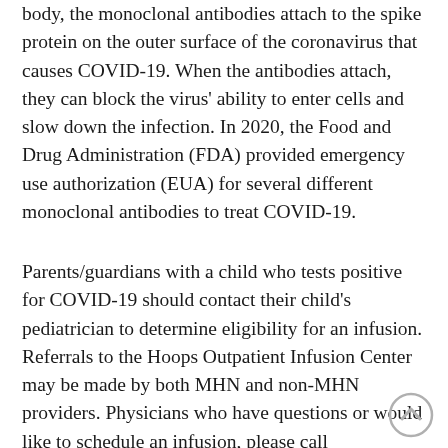body, the monoclonal antibodies attach to the spike protein on the outer surface of the coronavirus that causes COVID-19. When the antibodies attach, they can block the virus' ability to enter cells and slow down the infection. In 2020, the Food and Drug Administration (FDA) provided emergency use authorization (EUA) for several different monoclonal antibodies to treat COVID-19.
Parents/guardians with a child who tests positive for COVID-19 should contact their child's pediatrician to determine eligibility for an infusion. Referrals to the Hoops Outpatient Infusion Center may be made by both MHN and non-MHN providers. Physicians who have questions or would like to schedule an infusion, please call 304.399.1812.